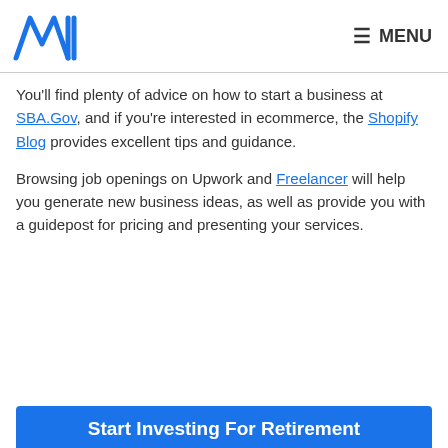M logo | MENU
You'll find plenty of advice on how to start a business at SBA.Gov, and if you're interested in ecommerce, the Shopify Blog provides excellent tips and guidance.
Browsing job openings on Upwork and Freelancer will help you generate new business ideas, as well as provide you with a guidepost for pricing and presenting your services.
Start Investing For Retirement